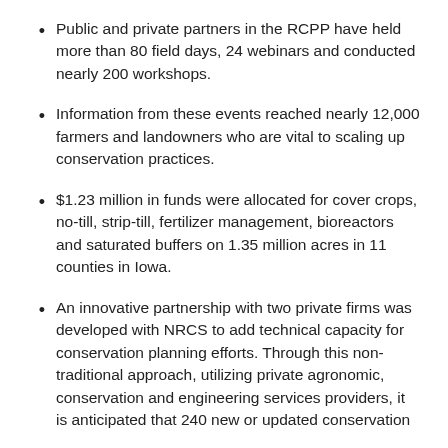Public and private partners in the RCPP have held more than 80 field days, 24 webinars and conducted nearly 200 workshops.
Information from these events reached nearly 12,000 farmers and landowners who are vital to scaling up conservation practices.
$1.23 million in funds were allocated for cover crops, no-till, strip-till, fertilizer management, bioreactors and saturated buffers on 1.35 million acres in 11 counties in Iowa.
An innovative partnership with two private firms was developed with NRCS to add technical capacity for conservation planning efforts. Through this non-traditional approach, utilizing private agronomic, conservation and engineering services providers, it is anticipated that 240 new or updated conservation